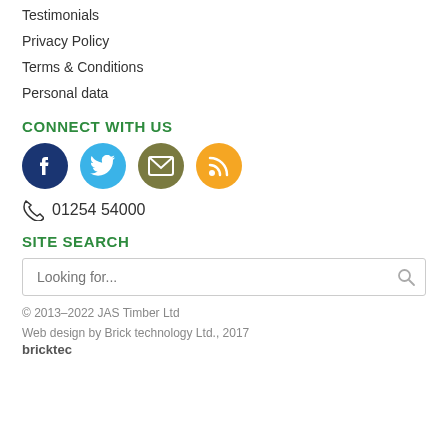Testimonials
Privacy Policy
Terms & Conditions
Personal data
CONNECT WITH US
[Figure (infographic): Four social/contact icons: Facebook (dark blue circle), Twitter (light blue circle), Email (olive/dark yellow circle), RSS (orange circle)]
01254 54000
SITE SEARCH
Looking for...
© 2013–2022 JAS Timber Ltd
Web design by Brick technology Ltd., 2017
bricktec...